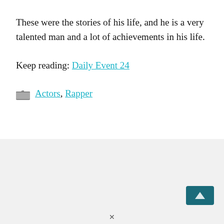These were the stories of his life, and he is a very talented man and a lot of achievements in his life.
Keep reading: Daily Event 24
Actors, Rapper